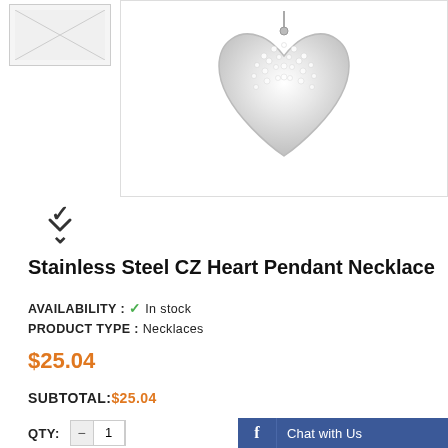[Figure (photo): Thumbnail image placeholder of stainless steel CZ heart pendant necklace]
[Figure (photo): Main product image: Stainless Steel CZ Heart Pendant Necklace on white background]
[Figure (other): Chevron/down arrow indicating scroll or more images below]
Stainless Steel CZ Heart Pendant Necklace
AVAILABILITY : ✔ In stock
PRODUCT TYPE : Necklaces
$25.04
SUBTOTAL:$25.04
QTY: — 1
f  Chat with Us